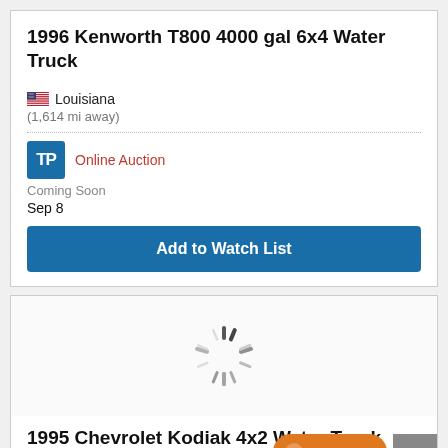1996 Kenworth T800 4000 gal 6x4 Water Truck
Louisiana
(1,614 mi away)
Online Auction
Coming Soon
Sep 8
Add to Watch List
[Figure (other): Loading spinner animation]
1995 Chevrolet Kodiak 4x2 Water Truck
Meter: 68,755 mi